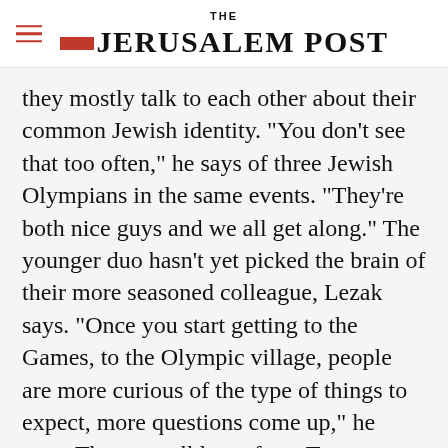THE JERUSALEM POST
they mostly talk to each other about their common Jewish identity. "You don't see that too often," he says of three Jewish Olympians in the same events. "They're both nice guys and we all get along." The younger duo hasn't yet picked the brain of their more seasoned colleague, Lezak says. "Once you start getting to the Games, to the Olympic village, people are more curious of the type of things to expect, more questions come up," he says. They can all learn from Torres.
Advertisement